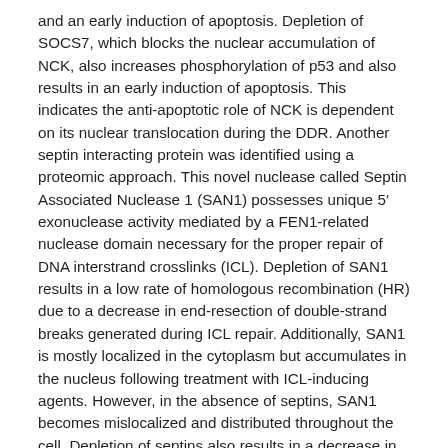and an early induction of apoptosis. Depletion of SOCS7, which blocks the nuclear accumulation of NCK, also increases phosphorylation of p53 and also results in an early induction of apoptosis. This indicates the anti-apoptotic role of NCK is dependent on its nuclear translocation during the DDR. Another septin interacting protein was identified using a proteomic approach. This novel nuclease called Septin Associated Nuclease 1 (SAN1) possesses unique 5' exonuclease activity mediated by a FEN1-related nuclease domain necessary for the proper repair of DNA interstrand crosslinks (ICL). Depletion of SAN1 results in a low rate of homologous recombination (HR) due to a decrease in end-resection of double-strand breaks generated during ICL repair. Additionally, SAN1 is mostly localized in the cytoplasm but accumulates in the nucleus following treatment with ICL-inducing agents. However, in the absence of septins, SAN1 becomes mislocalized and distributed throughout the cell. Depletion of septins also results in a decrease in HR and end-resection. This suggests septins are necessary for the proper response to ICL by regulating SAN1 localization and activation. Taken together, these data demonstrate that mammalian septins play a role in the DDR and highlight an